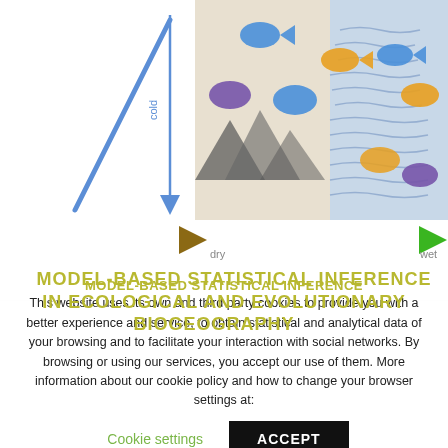[Figure (illustration): Scientific illustration showing biogeography diagram with colored fish/animal figures over landscape, with a vertical blue arrow labeled 'cold', a horizontal gradient arrow from 'dry' (brown) to 'wet' (green), and a diagonal blue line. Below is the title 'MODEL-BASED STATISTICAL INFERENCE IN ECOLOGICAL AND EVOLUTIONARY BIOGEOGRAPHY' in olive/yellow-green text.]
This website uses its own and third party cookies to provide you with a better experience and service, to obtain statistical and analytical data of your browsing and to facilitate your interaction with social networks. By browsing or using our services, you accept our use of them. More information about our cookie policy and how to change your browser settings at:
Cookie settings   ACCEPT